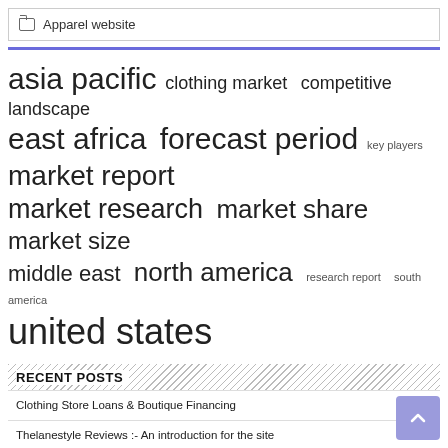Apparel website
[Figure (infographic): Tag cloud with keywords: asia pacific (largest), clothing market, competitive landscape, east africa, forecast period, key players (small), market report (large), market research, market share, market size, middle east, north america (large), research report (small), south america (small), united states (largest)]
RECENT POSTS
Clothing Store Loans & Boutique Financing
Thelanestyle Reviews :- An introduction for the site
Insect Shield Clothing Market Report 2022: With Key Players Insect Shield, ExOfficio, Royal Robbins & Others – ResearchAndMarkets.com
NTUF invites application for admission